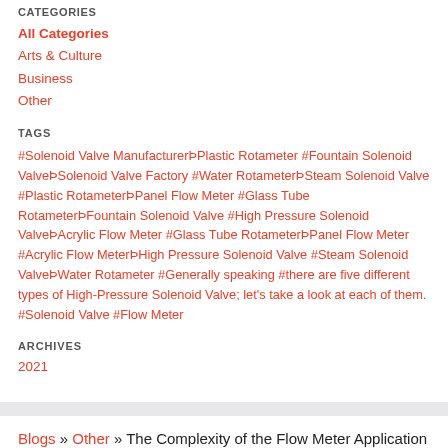CATEGORIES
All Categories
Arts & Culture
Business
Other
TAGS
#Solenoid Valve ManufacturerÞPlastic Rotameter #Fountain Solenoid ValveÞSolenoid Valve Factory #Water RotameterÞSteam Solenoid Valve #Plastic RotameterÞPanel Flow Meter #Glass Tube RotameterÞFountain Solenoid Valve #High Pressure Solenoid ValveÞAcrylic Flow Meter #Glass Tube RotameterÞPanel Flow Meter #Acrylic Flow MeterÞHigh Pressure Solenoid Valve #Steam Solenoid ValveÞWater Rotameter #Generally speaking #there are five different types of High-Pressure Solenoid Valve; let's take a look at each of them. #Solenoid Valve #Flow Meter
ARCHIVES
2021
Blogs » Other » The Complexity of the Flow Meter Application
The Complexity of the Flow Meter Application